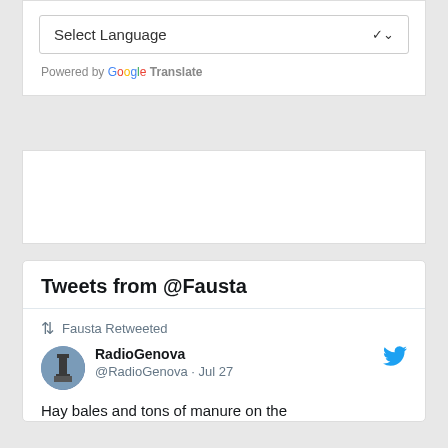Select Language
Powered by Google Translate
[Figure (other): Empty white widget box]
Tweets from @Fausta
Fausta Retweeted
RadioGenova @RadioGenova · Jul 27
Hay bales and tons of manure on the